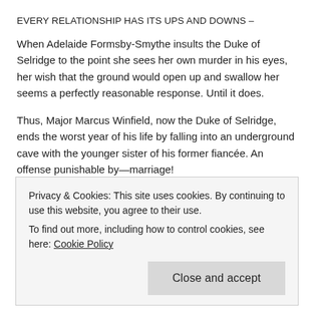EVERY RELATIONSHIP HAS ITS UPS AND DOWNS –
When Adelaide Formsby-Smythe insults the Duke of Selridge to the point she sees her own murder in his eyes, her wish that the ground would open up and swallow her seems a perfectly reasonable response. Until it does.
Thus, Major Marcus Winfield, now the Duke of Selridge, ends the worst year of his life by falling into an underground cave with the younger sister of his former fiancée. An offense punishable by—marriage!
EVERY MARRIAGE HAS ITS SECRETS –
Although he never imagined marrying Adelaide, Marcus decides they will limp along quite well together. There's no need to mention
Privacy & Cookies: This site uses cookies. By continuing to use this website, you agree to their use.
To find out more, including how to control cookies, see here: Cookie Policy